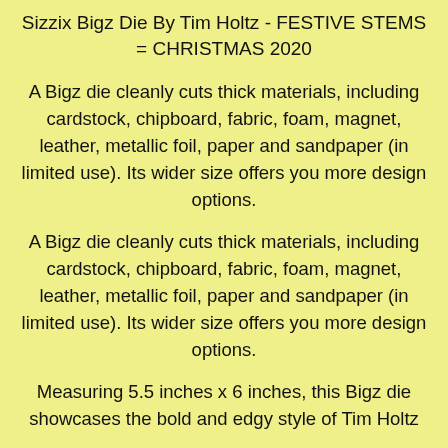Sizzix Bigz Die By Tim Holtz - FESTIVE STEMS = CHRISTMAS 2020
A Bigz die cleanly cuts thick materials, including cardstock, chipboard, fabric, foam, magnet, leather, metallic foil, paper and sandpaper (in limited use). Its wider size offers you more design options.
A Bigz die cleanly cuts thick materials, including cardstock, chipboard, fabric, foam, magnet, leather, metallic foil, paper and sandpaper (in limited use). Its wider size offers you more design options.
Measuring 5.5 inches x 6 inches, this Bigz die showcases the bold and edgy style of Tim Holtz